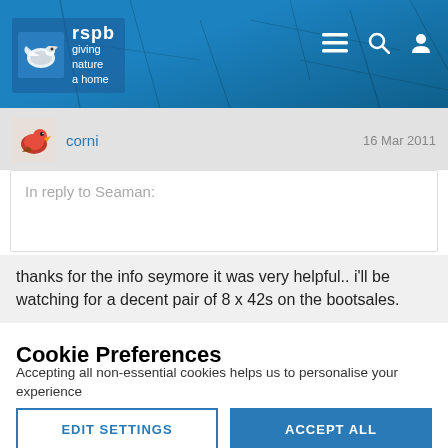[Figure (logo): RSPB logo with bird silhouette and text 'giving nature a home']
corni
16 Mar 2011
In reply to Seaman:
thanks for the info seymore it was very helpful.. i'll be watching for a decent pair of 8 x 42s on the bootsales.
Cookie Preferences
Accepting all non-essential cookies helps us to personalise your experience
EDIT SETTINGS
ACCEPT ALL